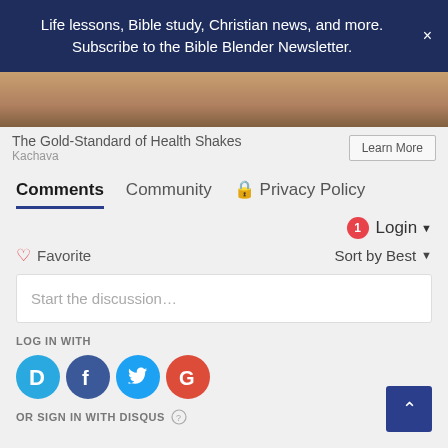Life lessons, Bible study, Christian news, and more. Subscribe to the Bible Blender Newsletter.
[Figure (photo): Partial image of a hand, bottom portion of an advertisement photo]
The Gold-Standard of Health Shakes
Kachava
Learn More
Comments   Community   Privacy Policy
1  Login
Favorite   Sort by Best
Start the discussion...
LOG IN WITH
[Figure (logo): Social login icons: Disqus (D), Facebook (f), Twitter bird, Google (G)]
OR SIGN IN WITH DISQUS